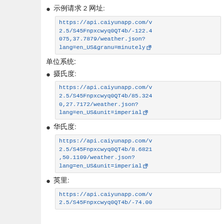示例请求 2 网址:
https://api.caiyunapp.com/v2.5/S45Fnpxcwyq0QT4b/-122.4075,37.7879/weather.json?lang=en_US&granu=minutely
单位系统:
摄氏度:
https://api.caiyunapp.com/v2.5/S45Fnpxcwyq0QT4b/85.3240,27.7172/weather.json?lang=en_US&unit=imperial
华氏度:
https://api.caiyunapp.com/v2.5/S45Fnpxcwyq0QT4b/8.6821,50.1109/weather.json?lang=en_US&unit=imperial
英里:
https://api.caiyunapp.com/v2.5/S45Fnpxcwyq0QT4b/-74.00